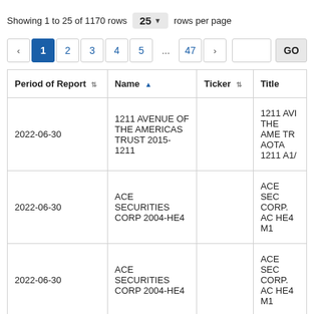Showing 1 to 25 of 1170 rows  25 ▾  rows per page
| Period of Report | Name | Ticker | Title |
| --- | --- | --- | --- |
| 2022-06-30 | 1211 AVENUE OF THE AMERICAS TRUST 2015-1211 |  | 1211 AVI THE AME TR AOTA 1211 A1/ |
| 2022-06-30 | ACE SECURITIES CORP 2004-HE4 |  | ACE SEC CORP. AC HE4 M1 |
| 2022-06-30 | ACE SECURITIES CORP 2004-HE4 |  | ACE SEC CORP. AC HE4 M1 |